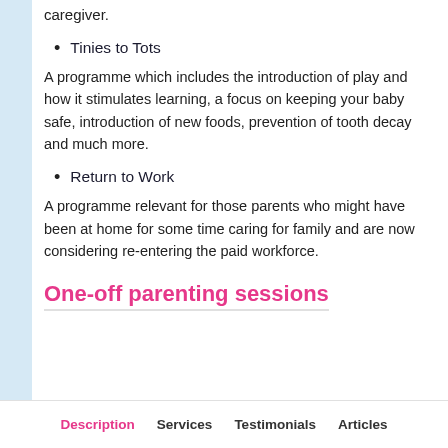caregiver.
Tinies to Tots
A programme which includes the introduction of play and how it stimulates learning, a focus on keeping your baby safe, introduction of new foods, prevention of tooth decay and much more.
Return to Work
A programme relevant for those parents who might have been at home for some time caring for family and are now considering re-entering the paid workforce.
One-off parenting sessions
Description   Services   Testimonials   Articles